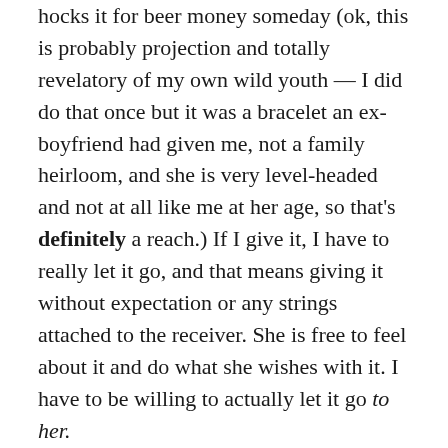hocks it for beer money someday (ok, this is probably projection and totally revelatory of my own wild youth — I did do that once but it was a bracelet an ex-boyfriend had given me, not a family heirloom, and she is very level-headed and not at all like me at her age, so that's definitely a reach.) If I give it, I have to really let it go, and that means giving it without expectation or any strings attached to the receiver. She is free to feel about it and do what she wishes with it. I have to be willing to actually let it go to her.
I have loved that necklace so much. Cherished it. But I don't actually wear it much. Isn't it better is it is given to possibly be worn by someone my mother and I both adore?
I wonder if my mom felt pangs of sadness when she gave